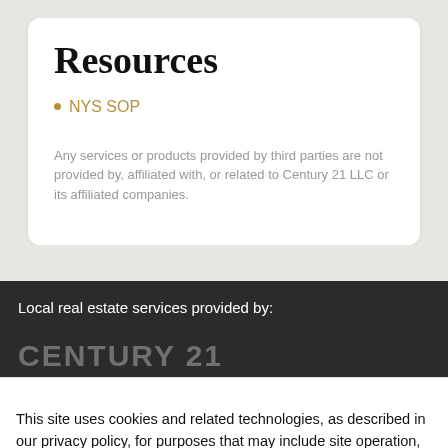Resources
NYS SOP
Any services or products provided by third parties are not provided by, affiliated with, or related to Century 21 LLC or its affiliated companies.
Local real estate services provided by:
This site uses cookies and related technologies, as described in our privacy policy, for purposes that may include site operation, analytics, enhanced user experience, or advertising. You may choose to consent to our use of these technologies, or manage your own preferences.